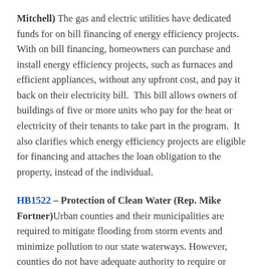Mitchell) The gas and electric utilities have dedicated funds for on bill financing of energy efficiency projects. With on bill financing, homeowners can purchase and install energy efficiency projects, such as furnaces and efficient appliances, without any upfront cost, and pay it back on their electricity bill. This bill allows owners of buildings of five or more units who pay for the heat or electricity of their tenants to take part in the program. It also clarifies which energy efficiency projects are eligible for financing and attaches the loan obligation to the property, instead of the individual.
HB1522 – Protection of Clean Water (Rep. Mike Fortner) Urban counties and their municipalities are required to mitigate flooding from storm events and minimize pollution to our state waterways. However, counties do not have adequate authority to require or encourage property owners to use good practices